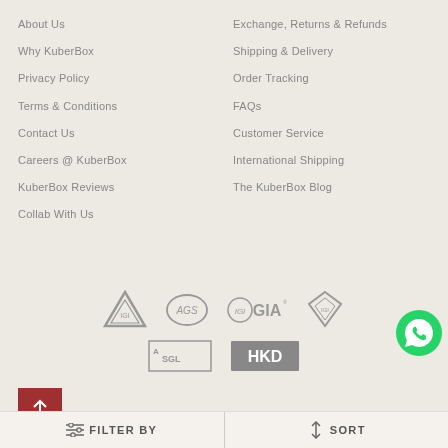About Us
Exchange, Returns & Refunds
Why KuberBox
Shipping & Delivery
Privacy Policy
Order Tracking
Terms & Conditions
FAQs
Contact Us
Customer Service
Careers @ KuberBox
International Shipping
KuberBox Reviews
The KuberBox Blog
Collab With Us
[Figure (logo): Certification logos: IGI triangle logo, AGS oval logo, GIA logo with circle, IGI diamond logo, ASGL logo, HKD logo]
[Figure (logo): WhatsApp contact button - green circle with phone icon]
Rakhi Special
FILTER BY
SORT